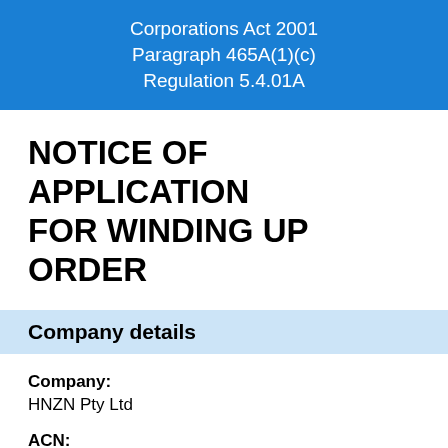Corporations Act 2001
Paragraph 465A(1)(c)
Regulation 5.4.01A
NOTICE OF APPLICATION FOR WINDING UP ORDER
Company details
Company:
HNZN Pty Ltd
ACN:
621 702 350